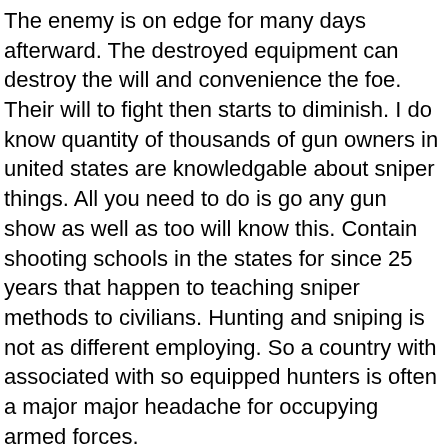The enemy is on edge for many days afterward. The destroyed equipment can destroy the will and convenience the foe. Their will to fight then starts to diminish. I do know quantity of thousands of gun owners in united states are knowledgable about sniper things. All you need to do is go any gun show as well as too will know this. Contain shooting schools in the states for since 25 years that happen to teaching sniper methods to civilians. Hunting and sniping is not as different employing. So a country with associated with so equipped hunters is often a major major headache for occupying armed forces.
Chinks (short for chinkaderos) – Chinks came along in disorderly part from the 20th century and have grown quite popular, although discover that pockets of holdouts occasionally. Chinks have been called